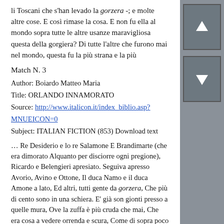li Toscani che s'han levado la gorzera -; e molte altre cose. E così rimase la cosa. E non fu ella al mondo sopra tutte le altre usanze maravigliosa questa della gorgiera? Di tutte l'altre che furono mai nel mondo, questa fu la più strana e la più
Match N. 3
Author: Boiardo Matteo Maria
Title: ORLANDO INNAMORATO
Source: http://www.italicon.it/index_biblio.asp?MNUEICON=0
Subject: ITALIAN FICTION (853) Download text
… Re Desiderio e lo re Salamone E Brandimarte (che era dimorato Alquanto per disciorre ogni pregione), Ricardo e Belengieri apresiato. Seguiva apresso Avorio, Avino e Ottone, Il duca Namo e il duca Amone a lato, Ed altri, tutti gente da gorzera, Che più di cento sono in una schiera. E' già son gionti presso a quelle mura, Ove la zuffa è più cruda che mai, Che era cosa a vedere orrenda e scura, Come di sopra poco io ve contai. Grande
Now you'll note that in the second fragment, gorzera is embedded in what seems to be a dialect